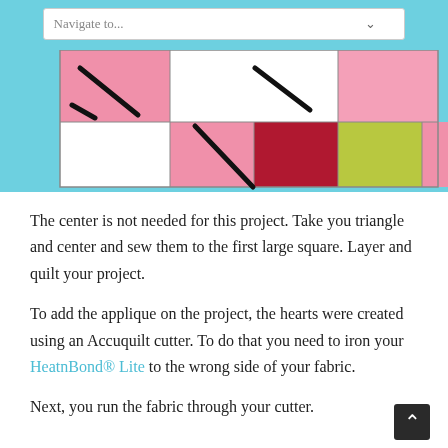Navigate to...
[Figure (illustration): A quilting pattern diagram showing a row of fabric squares and rectangles with diagonal slash marks drawn over them. Colors include pink, hot pink, red, yellow-green (chartreuse), and white squares arranged in a horizontal strip against a light blue background.]
The center is not needed for this project.  Take you triangle and center and sew them to the first large square.  Layer and quilt your project.
To add the applique on the project, the hearts were created using an Accuquilt cutter.  To do that you need to iron your HeatnBond® Lite to the wrong side of your fabric.
Next, you run the fabric through your cutter.